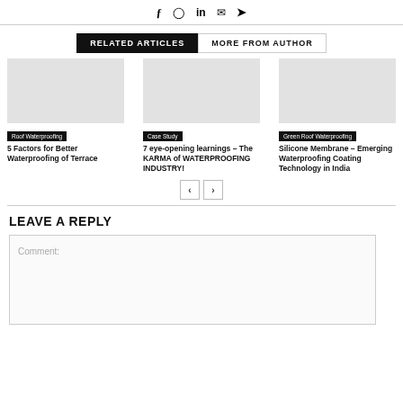Social icons: f, Instagram, in, mail, Twitter
RELATED ARTICLES | MORE FROM AUTHOR
[Figure (photo): Article card image area (blank/grey) for Roof Waterproofing article]
Roof Waterproofing
5 Factors for Better Waterproofing of Terrace
[Figure (photo): Article card image area (blank/grey) for Case Study article]
Case Study
7 eye-opening learnings – The KARMA of WATERPROOFING INDUSTRY!
[Figure (photo): Article card image area (blank/grey) for Green Roof Waterproofing article]
Green Roof Waterproofing
Silicone Membrane – Emerging Waterproofing Coating Technology in India
LEAVE A REPLY
Comment: